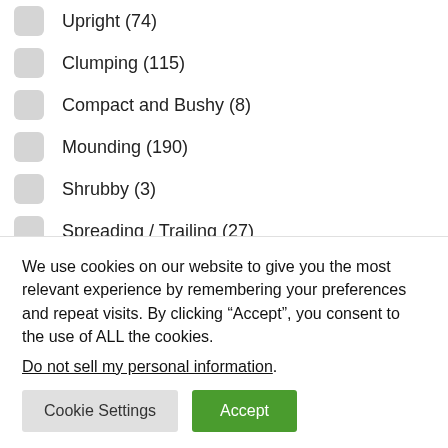Upright (74)
Clumping (115)
Compact and Bushy (8)
Mounding (190)
Shrubby (3)
Spreading / Trailing (27)
Special Uses
Award Winners (40)
We use cookies on our website to give you the most relevant experience by remembering your preferences and repeat visits. By clicking “Accept”, you consent to the use of ALL the cookies.
Do not sell my personal information.